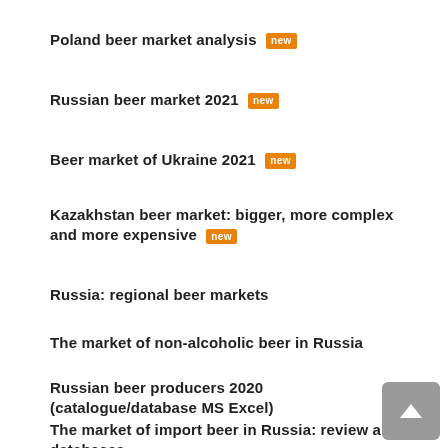Poland beer market analysis [new]
Russian beer market 2021 [new]
Beer market of Ukraine 2021 [new]
Kazakhstan beer market: bigger, more complex and more expensive [new]
Russia: regional beer markets
The market of non-alcoholic beer in Russia
Russian beer producers 2020 (catalogue/database MS Excel)
The market of import beer in Russia: review and databases